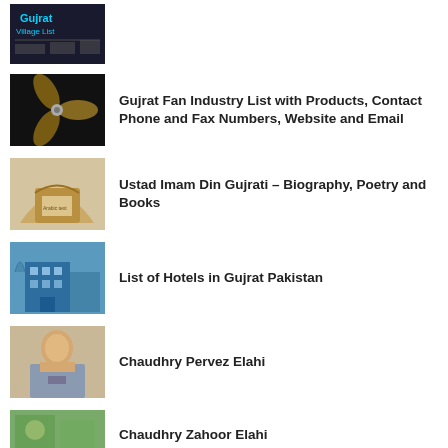(Gujrat Village List image — cropped top)
Gujrat Fan Industry List with Products, Contact Phone and Fax Numbers, Website and Email
Ustad Imam Din Gujrati – Biography, Poetry and Books
List of Hotels in Gujrat Pakistan
Chaudhry Pervez Elahi
Chaudhry Zahoor Elahi